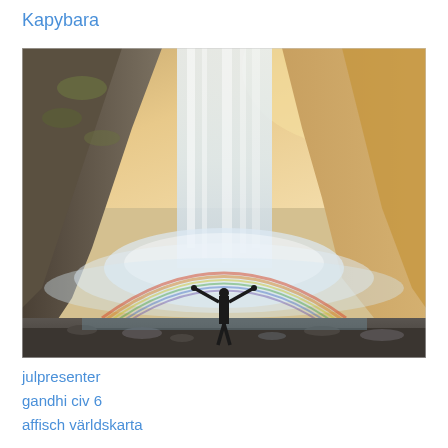Kapybara
[Figure (photo): A person standing with arms raised facing a large waterfall, with a rainbow arching in the mist in front of them. Rocky cliffs flank the waterfall on both sides, with golden light in the upper right.]
julpresenter
gandhi civ 6
affisch världskarta